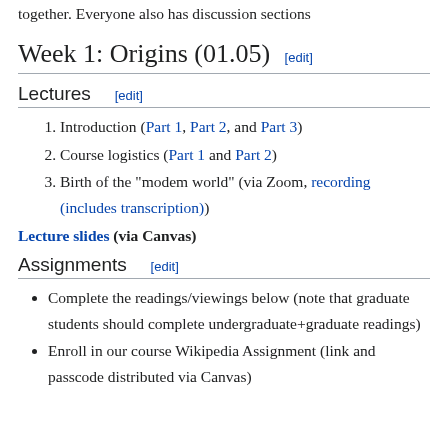corresponds to the Wednesday section when we all meet together. Everyone also has discussion sections
Week 1: Origins (01.05) [edit]
Lectures [edit]
Introduction (Part 1, Part 2, and Part 3)
Course logistics (Part 1 and Part 2)
Birth of the "modem world" (via Zoom, recording (includes transcription))
Lecture slides (via Canvas)
Assignments [edit]
Complete the readings/viewings below (note that graduate students should complete undergraduate+graduate readings)
Enroll in our course Wikipedia Assignment (link and passcode distributed via Canvas)